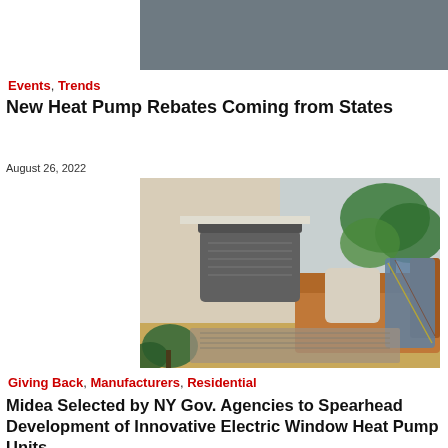[Figure (photo): Gray rectangular banner image at top of page]
Events, Trends
New Heat Pump Rebates Coming from States
August 26, 2022
[Figure (photo): Photo of a gray window heat pump unit installed in a living room with orange sofa, plants, and warm lighting]
Giving Back, Manufacturers, Residential
Midea Selected by NY Gov. Agencies to Spearhead Development of Innovative Electric Window Heat Pump Units